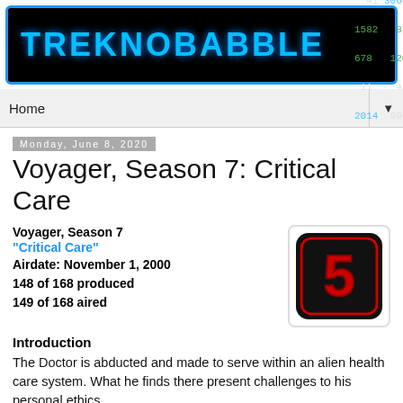[Figure (logo): Treknobabble website banner logo with blue text on black background and statistics panel]
Home ▼
Monday, June 8, 2020
Voyager, Season 7: Critical Care
Voyager, Season 7
"Critical Care"
Airdate: November 1, 2000
148 of 168 produced
149 of 168 aired
[Figure (logo): Season 5 logo icon: black rounded square with red number 5]
Introduction
The Doctor is abducted and made to serve within an alien health care system. What he finds there present challenges to his personal ethics.